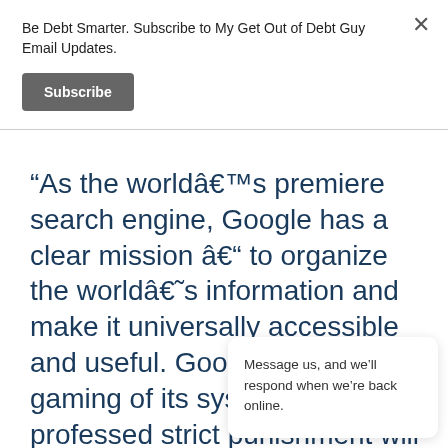Be Debt Smarter. Subscribe to My Get Out of Debt Guy Email Updates.
Subscribe
“As the worldâ€™s premiere search engine, Google has a clear mission â€“ to organize the worldâ€˜s information and make it universally accessible and useful. Google has rules in gaming of its system and has professed strict punishment will be enacted against brands/individuals
Message us, and we’ll respond when we’re back online.